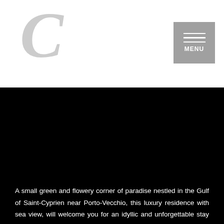[Figure (logo): Large italic serif letter C in light gray, serving as a logo mark]
[Figure (other): Gray square button with three horizontal white lines and the word MENU below them]
A small green and flowery corner of paradise nestled in the Gulf of Saint-Cyprien near Porto-Vecchio, this luxury residence with sea view, will welcome you for an idyllic and unforgettable stay with your family or as a couple with its heated swimming pool, its gym, its hammam, its spa, its breakfast service and its friendly relaxation area. Beauty, serenity and conviviality are the key words of this residence of 17 villas in Porto-Vecchio and will make your stay an unforgettable memory. In a lush and gentle setting, it is here